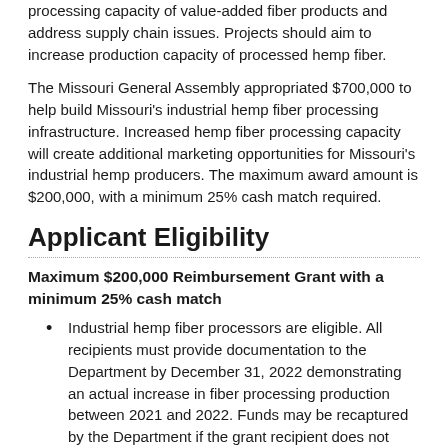processing capacity of value-added fiber products and address supply chain issues. Projects should aim to increase production capacity of processed hemp fiber.
The Missouri General Assembly appropriated $700,000 to help build Missouri's industrial hemp fiber processing infrastructure. Increased hemp fiber processing capacity will create additional marketing opportunities for Missouri's industrial hemp producers. The maximum award amount is $200,000, with a minimum 25% cash match required.
Applicant Eligibility
Maximum $200,000 Reimbursement Grant with a minimum 25% cash match
Industrial hemp fiber processors are eligible. All recipients must provide documentation to the Department by December 31, 2022 demonstrating an actual increase in fiber processing production between 2021 and 2022. Funds may be recaptured by the Department if the grant recipient does not increase fiber processing capacity by December 31, 2022.
Headquartered in Missouri.